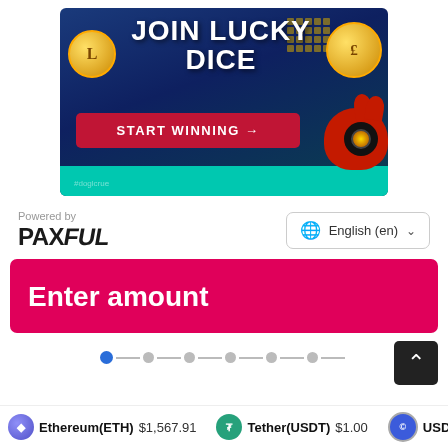[Figure (illustration): Advertisement banner for Lucky Dice gambling site with dark blue background, gold coins, a cartoon mascot, and a red 'START WINNING →' button]
Powered by PAXFUL
English (en)
Enter amount
[Figure (infographic): Stepper dots showing progress: one active blue dot followed by dashes and gray dots, 6 steps total]
Ethereum(ETH) $1,567.91   Tether(USDT) $1.00   USD